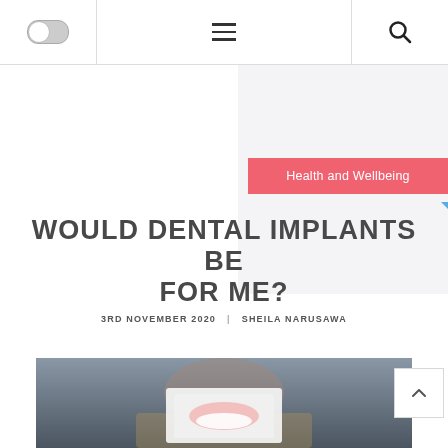Health and Wellbeing
WOULD DENTAL IMPLANTS BE FOR ME?
3RD NOVEMBER 2020   SHEILA NARUSAWA
[Figure (photo): Person holding a photo of a smiling mouth with dental implants, pointing at it with both index fingers, against a dark background]